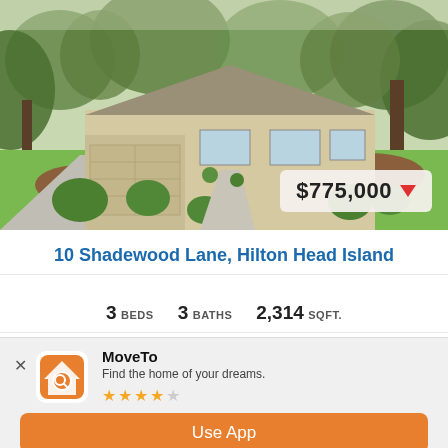[Figure (photo): Exterior photo of a single-story ranch-style home with beige/tan stucco, hip roof, attached garage, green landscaping with hedges and mulched beds, surrounded by tall trees.]
10 Shadewood Lane, Hilton Head Island
3 BEDS   3 BATHS   2,314 SQFT.
HILTONHEAD-428174 MLS   Headlands SUBDV.
MoveTo
Find the home of your dreams.
★★★★☆
Use App